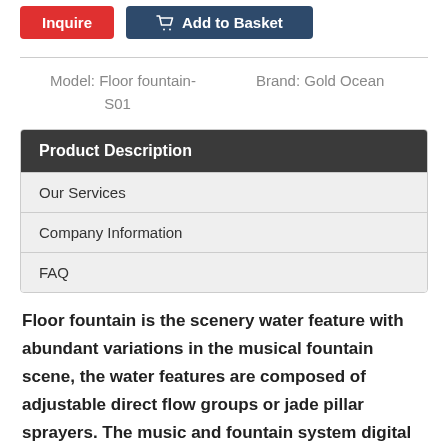[Figure (other): Two buttons: red 'Inquire' button and dark navy 'Add to Basket' button with cart icon]
Model: Floor fountain-S01    Brand: Gold Ocean
| Product Description |
| Our Services |
| Company Information |
| FAQ |
Floor fountain is the scenery water feature with abundant variations in the musical fountain scene, the water features are composed of adjustable direct flow groups or jade pillar sprayers. The music and fountain system digital style are connected